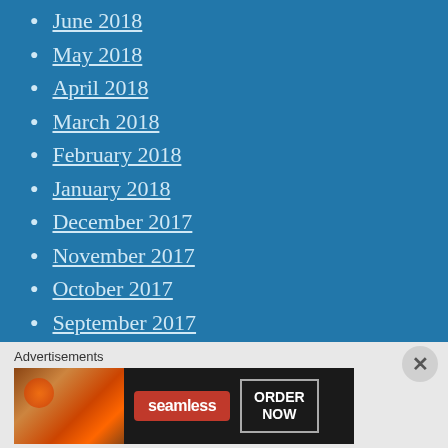June 2018
May 2018
April 2018
March 2018
February 2018
January 2018
December 2017
November 2017
October 2017
September 2017
August 2017
July 2017
June 2017
May 2017
Advertisements
[Figure (screenshot): Seamless food delivery advertisement banner with pizza image, Seamless logo in red, and ORDER NOW button]